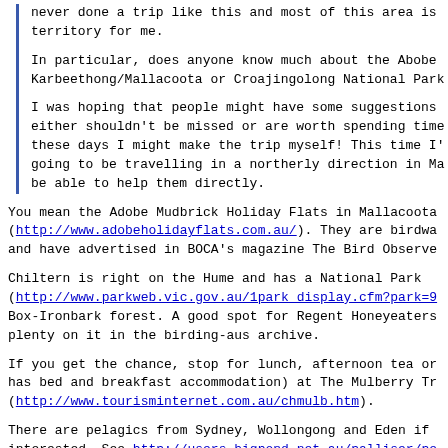never done a trip like this and most of this area is territory for me.
In particular, does anyone know much about the Abobe Karbeethong/Mallacoota or Croajingolong National Park
I was hoping that people might have some suggestions either shouldn't be missed or are worth spending time these days I might make the trip myself! This time I' going to be travelling in a northerly direction in Ma be able to help them directly.
You mean the Adobe Mudbrick Holiday Flats in Mallacoota (http://www.adobeholidayflats.com.au/). They are birdwa and have advertised in BOCA's magazine The Bird Observe
Chiltern is right on the Hume and has a National Park (http://www.parkweb.vic.gov.au/1park_display.cfm?park=9 Box-Ironbark forest. A good spot for Regent Honeyeaters plenty on it in the birding-aus archive.
If you get the chance, stop for lunch, afternoon tea or has bed and breakfast accommodation) at The Mulberry Tr (http://www.tourisminternet.com.au/chmulb.htm).
There are pelagics from Sydney, Wollongong and Eden if interested. See http://users.bigpond.net.au/palliser/pe dir.html for more details.
Barren Grounds Nature Reserve